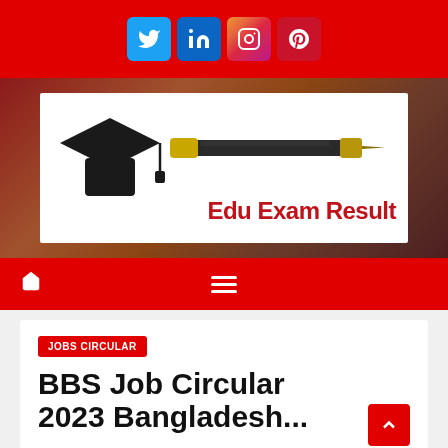[Figure (screenshot): Social media icon bar with Twitter, LinkedIn, Instagram, Pinterest icons on red background]
[Figure (logo): Edu Exam Result website logo with graduation cap and pen on white background]
[Figure (screenshot): Red navigation bar with home icon and hamburger menu]
JOBS CIRCULAR
BBS Job Circular 2023 Bangladesh...